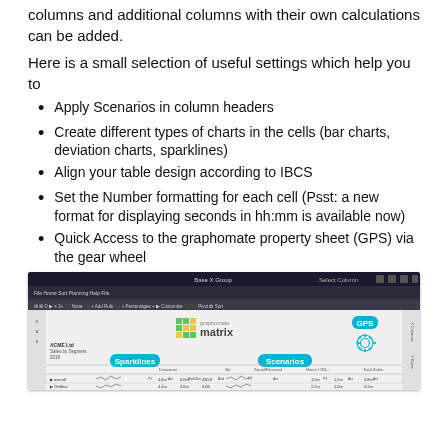columns and additional columns with their own calculations can be added.
Here is a small selection of useful settings which help you to
Apply Scenarios in column headers
Create different types of charts in the cells (bar charts, deviation charts, sparklines)
Align your table design according to IBCS
Set the Number formatting for each cell (Psst: a new format for displaying seconds in hh:mm is available now)
Quick Access to the graphomate property sheet (GPS) via the gear wheel
[Figure (screenshot): Screenshot of graphomate matrix interface showing sparklines, scenarios, GPS gear wheel icon, and tabular data with column headers.]